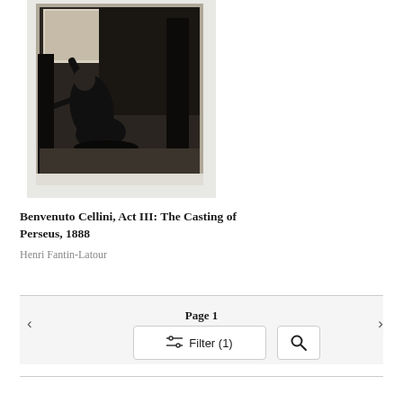[Figure (photo): Black and white artwork image showing a dramatic scene with a figure kneeling and raising one arm, with dark trees or architectural elements in the background. The image has a white border/mat around it.]
Benvenuto Cellini, Act III: The Casting of Perseus, 1888
Henri Fantin-Latour
< Page 1 >
Filter (1)
[Figure (other): Search icon (magnifying glass)]